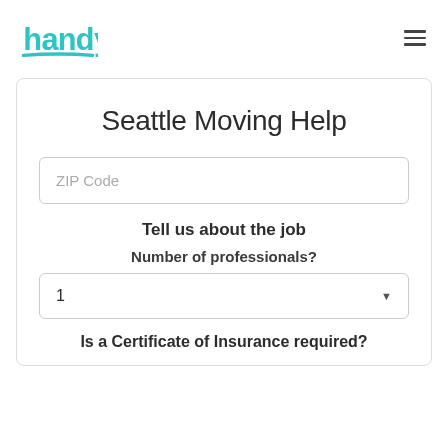handy [logo] — hamburger menu
Seattle Moving Help
ZIP Code
Tell us about the job
Number of professionals?
1
Is a Certificate of Insurance required?